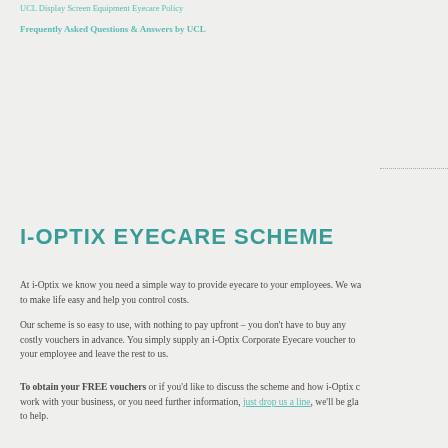UCL Display Screen Equipment Eyecare Policy
Frequently Asked Questions & Answers by UCL
I-OPTIX EYECARE SCHEME
At i-Optix we know you need a simple way to provide eyecare to your employees. We want to make life easy and help you control costs.
Our scheme is so easy to use, with nothing to pay upfront – you don't have to buy any costly vouchers in advance. You simply supply an i-Optix Corporate Eyecare voucher to your employee and leave the rest to us.
To obtain your FREE vouchers or if you'd like to discuss the scheme and how i-Optix can work with your business, or you need further information, just drop us a line, we'll be glad to help.